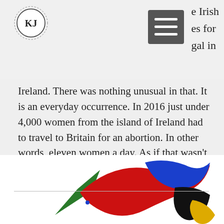[Figure (logo): KJ initials inside a circle with dashed outer ring — website logo]
[Figure (other): Dark grey hamburger menu button with three white horizontal lines]
e Irish es for gal in Ireland. There was nothing unusual in that. It is an everyday occurrence. In 2016 just under 4,000 women from the island of Ireland had to travel to Britain for an abortion. In other words, eleven women a day. As if that wasn't bad enough, these women risk long-term damage
[Figure (illustration): Colourful abstract bird/ribbon logo illustration with green, red, blue, black and yellow ribbon shapes]